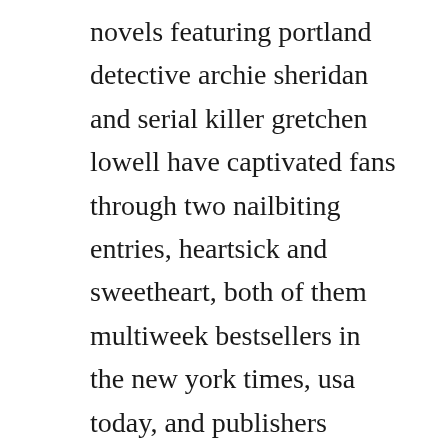novels featuring portland detective archie sheridan and serial killer gretchen lowell have captivated fans through two nailbiting entries, heartsick and sweetheart, both of them multiweek bestsellers in the new york times, usa today, and publishers weekly. Evil at heart a thriller by chelsea cain chelseacain. Buy chelsea cain ebooks to read online or download in pdf or epub on your pc, tablet or mobile device. Evil a t heart also by chelsea cain sweetheart heartsick evil at heart chelsea cain minotaur books new york t. Chelsea cain s novels featuring portland detective archie